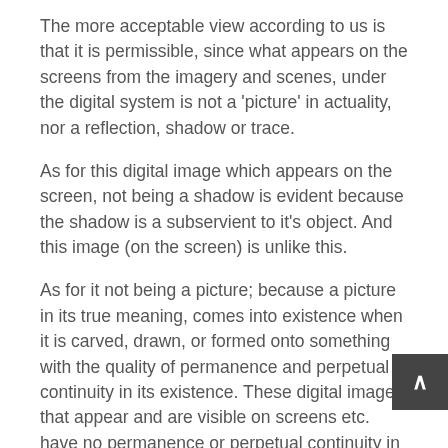The more acceptable view according to us is that it is permissible, since what appears on the screens from the imagery and scenes, under the digital system is not a 'picture' in actuality, nor a reflection, shadow or trace.
As for this digital image which appears on the screen, not being a shadow is evident because the shadow is a subservient to it's object. And this image (on the screen) is unlike this.
As for it not being a picture; because a picture in its true meaning, comes into existence when it is carved, drawn, or formed onto something with the quality of permanence and perpetual continuity in its existence. These digital images that appear and are visible on screens etc. have no permanence or perpetual continuity in their existence on something. Rather the image comprises of divisions of electronic rays that continue to be transmitted from the camera to the screen and appear on it in such a manner that there is no permanence in terms of it appearance and